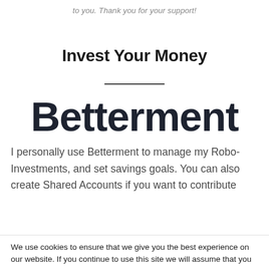to you. Thank you for your support!
Invest Your Money
Betterment
I personally use Betterment to manage my Robo-Investments, and set savings goals. You can also create Shared Accounts if you want to contribute
We use cookies to ensure that we give you the best experience on our website. If you continue to use this site we will assume that you